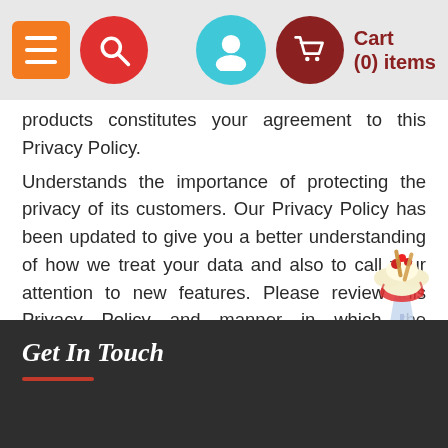Cart (0) items
products constitutes your agreement to this Privacy Policy.
Understands the importance of protecting the privacy of its customers. Our Privacy Policy has been updated to give you a better understanding of how we treat your data and also to call your attention to new features. Please review this Privacy Policy and manner in which the information shall be utilized.
The personal information so collected is used to market, study, analysis, process and improve the services offered by us and our subsidiaries/associates and also to contact you with updates to the web site or for other marketing and internal business analytical / review purposes.
Get In Touch